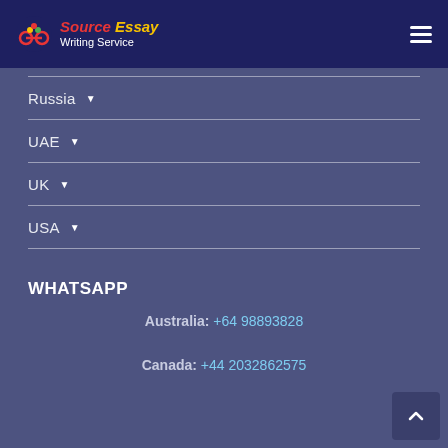Source Essay Writing Service
Russia ▼
UAE ▼
UK ▼
USA ▼
WHATSAPP
Australia: +64 98893828
Canada: +44 2032862575